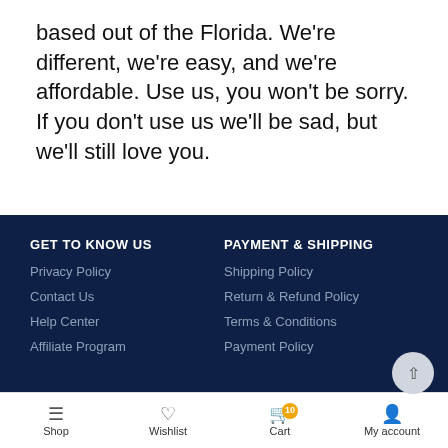based out of the Florida. We're different, we're easy, and we're affordable. Use us, you won't be sorry. If you don't use us we'll be sad, but we'll still love you.
GET TO KNOW US
Privacy Policy
Contact Us
Help Center
Affiliate Program
PAYMENT & SHIPPING
Shipping Policy
Return & Refund Policy
Terms & Conditions
Payment Policy
ACCOUNT
FOLLOW
Shop  Wishlist  Cart  My account